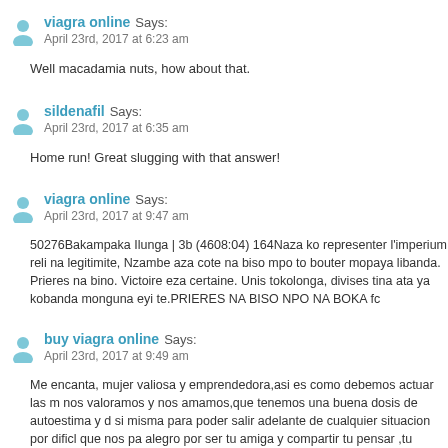viagra online Says:
April 23rd, 2017 at 6:23 am
Well macadamia nuts, how about that.
sildenafil Says:
April 23rd, 2017 at 6:35 am
Home run! Great slugging with that answer!
viagra online Says:
April 23rd, 2017 at 9:47 am
50276Bakampaka Ilunga | 3b (4608:04) 164Naza ko representer l'imperium reli na legitimite, Nzambe aza cote na biso mpo to bouter mopaya libanda. Prieres na bino. Victoire eza certaine. Unis tokolonga, divises tina ata ya kobanda monguna eyi te.PRIERES NA BISO NPO NA BOKA fc
buy viagra online Says:
April 23rd, 2017 at 9:49 am
Me encanta, mujer valiosa y emprendedora,asi es como debemos actuar las m nos valoramos y nos amamos,que tenemos una buena dosis de autoestima y d si misma para poder salir adelante de cualquier situacion por dificl que nos pa alegro por ser tu amiga y compartir tu pensar ,tu sentir,tu actuar y tu visio campeona!! me uno a tu club de fans, y me encantaria que logremos juntas grandes cosas en la vida!! Felicidades por hacer la diferencia yo quiero ser co